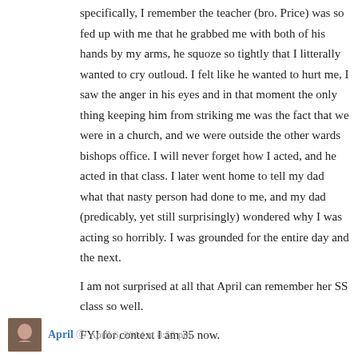specifically, I remember the teacher (bro. Price) was so fed up with me that he grabbed me with both of his hands by my arms, he squoze so tightly that I litterally wanted to cry outloud. I felt like he wanted to hurt me, I saw the anger in his eyes and in that moment the only thing keeping him from striking me was the fact that we were in a church, and we were outside the other wards bishops office. I will never forget how I acted, and he acted in that class. I later went home to tell my dad what that nasty person had done to me, and my dad (predicably, yet still surprisingly) wondered why I was acting so horribly. I was grounded for the entire day and the next.
I am not surprised at all that April can remember her SS class so well.
FYI for context I am 35 now.
Reply
April  ©  April 6, 2014 at 8:52 pm